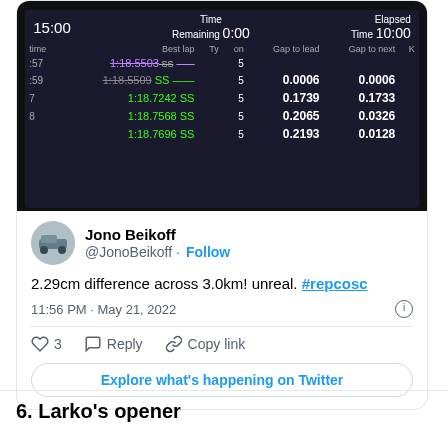[Figure (screenshot): Screenshot of a motorsport timing board showing lap times and gaps. Header row: 15:00, Time Remaining 0:00, Elapsed Time 10:00. Columns: time, Best lap, Ty, on, Gap to lead, Gap to next, K. Rows: 57 - 1:18.5503 SS (purple, strikethrough) 5; 59 - 1:18.5509 SS 5, 0.0006, 0.0006; 7 - 1:18.7242 SS 5, 0.1739, 0.1733; 8 - 1:18.7568 SS 5, 0.2065, 0.0326; 1:18.7696 SS 5, 0.2193, 0.0128]
Jono Beikoff @JonoBeikoff · Follow
2.29cm difference across 3.0km! unreal. #repcosc
11:56 PM · May 21, 2022
3  Reply  Copy link
Explore what's happening on Twitter
6. Larko's opener